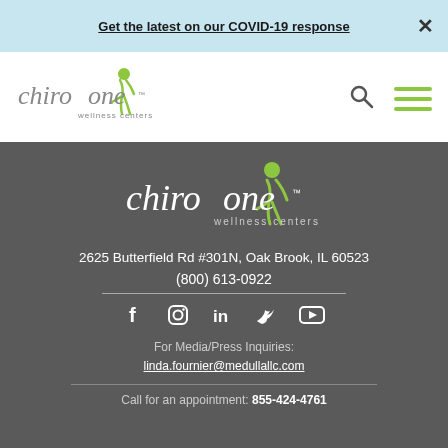Get the latest on our COVID-19 response  ×
[Figure (logo): Chiro One Wellness Centers logo in header navigation]
[Figure (logo): Chiro One Wellness Centers logo in footer (white version)]
2625 Butterfield Rd #301N, Oak Brook, IL 60523
(800) 613-0922
[Figure (illustration): Social media icons: Facebook, Instagram, LinkedIn, Twitter, YouTube]
For Media/Press Inquiries:
linda.fournier@medullallc.com
Call for an appointment: 855-424-4761